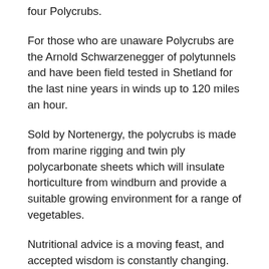four Polycrubs.
For those who are unaware Polycrubs are the Arnold Schwarzenegger of polytunnels and have been field tested in Shetland for the last nine years in winds up to 120 miles an hour.
Sold by Nortenergy, the polycrubs is made from marine rigging and twin ply polycarbonate sheets which will insulate horticulture from windburn and provide a suitable growing environment for a range of vegetables.
Nutritional advice is a moving feast, and accepted wisdom is constantly changing. Generally speaking, the view is that meat is likely to become a luxury within our lifetime, and for health reasons should be consumed no more than once a week. Further, fresh fruit and vegetables should make up a minimum of two-thirds of our diet, in order to ensure that we receive the balance of vitamins and minerals our bodies